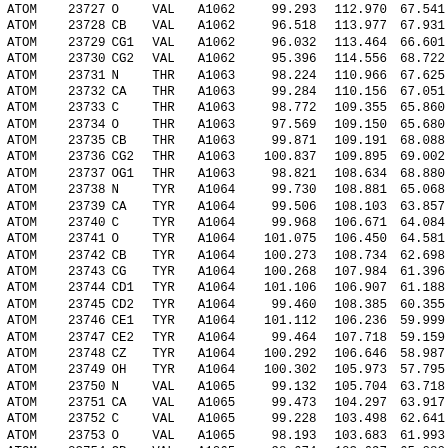| type | serial | name | res | chain_res | x | y | z |
| --- | --- | --- | --- | --- | --- | --- | --- |
| ATOM | 23727 | O | VAL | A1062 | 99.293 | 112.970 | 67.541 |
| ATOM | 23728 | CB | VAL | A1062 | 96.518 | 113.977 | 67.931 |
| ATOM | 23729 | CG1 | VAL | A1062 | 96.032 | 113.464 | 66.601 |
| ATOM | 23730 | CG2 | VAL | A1062 | 95.396 | 114.556 | 68.722 |
| ATOM | 23731 | N | THR | A1063 | 98.224 | 110.966 | 67.625 |
| ATOM | 23732 | CA | THR | A1063 | 99.284 | 110.156 | 67.051 |
| ATOM | 23733 | C | THR | A1063 | 98.772 | 109.355 | 65.860 |
| ATOM | 23734 | O | THR | A1063 | 97.569 | 109.150 | 65.680 |
| ATOM | 23735 | CB | THR | A1063 | 99.871 | 109.191 | 68.088 |
| ATOM | 23736 | CG2 | THR | A1063 | 100.837 | 109.895 | 69.002 |
| ATOM | 23737 | OG1 | THR | A1063 | 98.821 | 108.634 | 68.880 |
| ATOM | 23738 | N | TYR | A1064 | 99.730 | 108.881 | 65.068 |
| ATOM | 23739 | CA | TYR | A1064 | 99.506 | 108.103 | 63.857 |
| ATOM | 23740 | C | TYR | A1064 | 99.968 | 106.671 | 64.084 |
| ATOM | 23741 | O | TYR | A1064 | 101.075 | 106.450 | 64.581 |
| ATOM | 23742 | CB | TYR | A1064 | 100.273 | 108.734 | 62.698 |
| ATOM | 23743 | CG | TYR | A1064 | 100.268 | 107.984 | 61.396 |
| ATOM | 23744 | CD1 | TYR | A1064 | 101.106 | 106.907 | 61.188 |
| ATOM | 23745 | CD2 | TYR | A1064 | 99.460 | 108.385 | 60.355 |
| ATOM | 23746 | CE1 | TYR | A1064 | 101.112 | 106.236 | 59.999 |
| ATOM | 23747 | CE2 | TYR | A1064 | 99.464 | 107.718 | 59.159 |
| ATOM | 23748 | CZ | TYR | A1064 | 100.292 | 106.646 | 58.987 |
| ATOM | 23749 | OH | TYR | A1064 | 100.302 | 105.973 | 57.795 |
| ATOM | 23750 | N | VAL | A1065 | 99.132 | 105.704 | 63.718 |
| ATOM | 23751 | CA | VAL | A1065 | 99.473 | 104.297 | 63.917 |
| ATOM | 23752 | C | VAL | A1065 | 99.228 | 103.498 | 62.641 |
| ATOM | 23753 | O | VAL | A1065 | 98.193 | 103.683 | 61.993 |
| ATOM | 23754 | CB | VAL | A1065 | 98.674 | 103.697 | 65.080 |
| ATOM | 23755 | CG1 | VAL | A1065 | 99.088 | 102.281 | 65.300 |
| ATOM | 23756 | CG2 | VAL | A1065 | 99.876 | 104.511 | 66.232 |